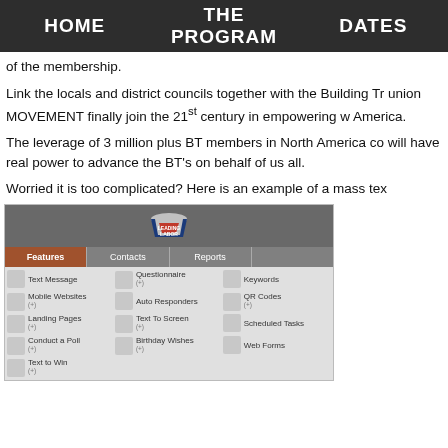HOME   THE PROGRAM   DATES
of the membership.
Link the locals and district councils together with the Building Tr union MOVEMENT finally join the 21st century in empowering w America.
The leverage of 3 million plus BT members in North America co will have real power to advance the BT’s on behalf of us all.
Worried it is too complicated? Here is an example of a mass tex
[Figure (screenshot): Screenshot of a software interface showing 'Leading Labor' logo with navigation tabs: Features, Contacts, Reports. Features grid shows: Text Message, Questionnaire, Keywords, Mobile Websites, Auto Responders, QR Codes, Landing Pages, Text To Screen, Scheduled Tasks, Conduct a Poll, Birthday Wishes, Web Forms, Text to Win]